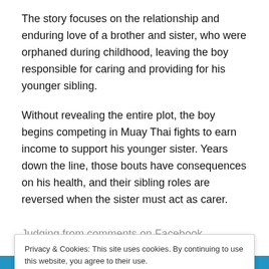The story focuses on the relationship and enduring love of a brother and sister, who were orphaned during childhood, leaving the boy responsible for caring and providing for his younger sibling.
Without revealing the entire plot, the boy begins competing in Muay Thai fights to earn income to support his younger sister. Years down the line, those bouts have consequences on his health, and their sibling roles are reversed when the sister must act as carer.
Judging from comments on Facebook, responses to the
Privacy & Cookies: This site uses cookies. By continuing to use this website, you agree to their use.
To find out more, including how to control cookies, see here: Cookie Policy